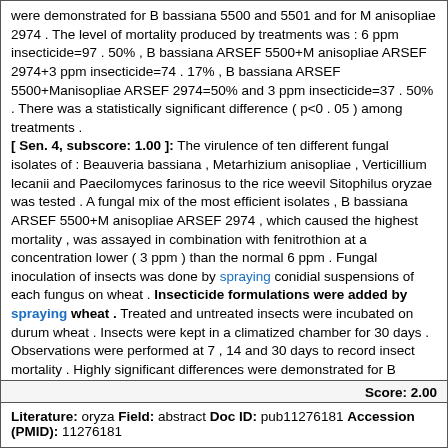were demonstrated for B bassiana 5500 and 5501 and for M anisopliae 2974 . The level of mortality produced by treatments was : 6 ppm insecticide=97 . 50% , B bassiana ARSEF 5500+M anisopliae ARSEF 2974+3 ppm insecticide=74 . 17% , B bassiana ARSEF 5500+Manisopliae ARSEF 2974=50% and 3 ppm insecticide=37 . 50% . There was a statistically significant difference ( p<0 . 05 ) among treatments .
[ Sen. 4, subscore: 1.00 ]: The virulence of ten different fungal isolates of : Beauveria bassiana , Metarhizium anisopliae , Verticillium lecanii and Paecilomyces farinosus to the rice weevil Sitophilus oryzae was tested . A fungal mix of the most efficient isolates , B bassiana ARSEF 5500+M anisopliae ARSEF 2974 , which caused the highest mortality , was assayed in combination with fenitrothion at a concentration lower ( 3 ppm ) than the normal 6 ppm . Fungal inoculation of insects was done by spraying conidial suspensions of each fungus on wheat . Insecticide formulations were added by spraying wheat . Treated and untreated insects were incubated on durum wheat . Insects were kept in a climatized chamber for 30 days . Observations were performed at 7 , 14 and 30 days to record insect mortality . Highly significant differences were demonstrated for B bassiana 5500 and 5501 and for M anisopliae 2974 . The level of mortality produced by treatments was : 6 ppm insecticide=97 . 50% , B bassiana ARSEF 5500+M anisopliae ARSEF 2974+3 ppm insecticide=74 . 17% , B bassiana ARSEF 5500+Manisopliae ARSEF 2974=50% and 3 ppm insecticide=37 . 50% . There was a statistically significant difference ( p<0 . 05 ) among treatments .
Score: 2.00
Literature: oryza Field: abstract Doc ID: pub11276181 Accession (PMID): 11276181